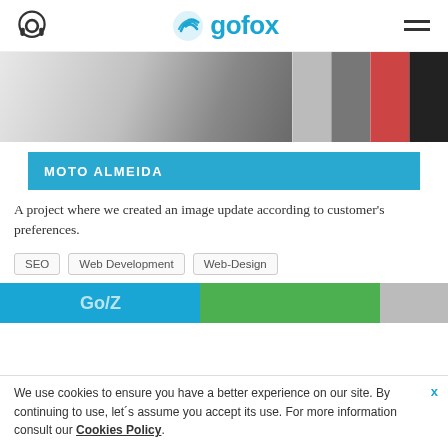gofox — navigation header with headphone icon and hamburger menu
[Figure (screenshot): Website screenshot showing web design mockup with white card and image tiles on dark background]
MOTO ALMEIDA
A project where we created an image update according to customer's preferences.
SEO
Web Development
Web-Design
[Figure (screenshot): Partial view of another project image with blue and green colors]
We use cookies to ensure you have a better experience on our site. By continuing to use, let´s assume you accept its use. For more information consult our Cookies Policy.